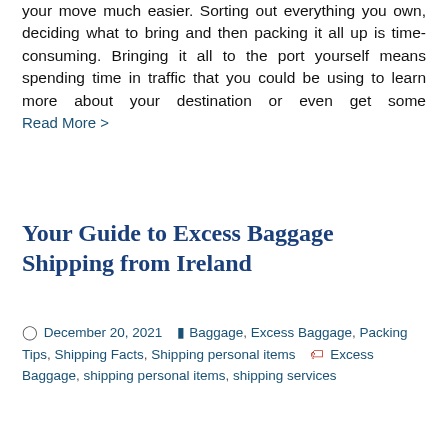your move much easier. Sorting out everything you own, deciding what to bring and then packing it all up is time-consuming. Bringing it all to the port yourself means spending time in traffic that you could be using to learn more about your destination or even get some Read More >
Your Guide to Excess Baggage Shipping from Ireland
December 20, 2021  Baggage, Excess Baggage, Packing Tips, Shipping Facts, Shipping personal items  Excess Baggage, shipping personal items, shipping services